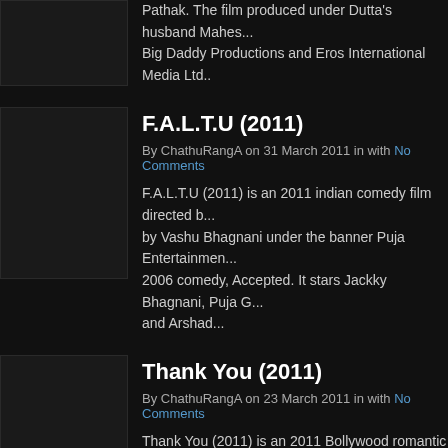Pathak. The film produced under Dutta's husband Mahes... Big Daddy Productions and Eros International Media Ltd.
F.A.L.T.U (2011)
By ChathuRangA on 31 March 2011 in with No Comments
F.A.L.T.U (2011) is an 2011 indian comedy film directed b... by Vashu Bhagnani under the banner Puja Entertainmen... 2006 comedy, Accepted. It stars Jackky Bhagnani, Puja G... and Arshad...
Thank You (2011)
By ChathuRangA on 23 March 2011 in with No Comments
Thank You (2011) is an 2011 Bollywood romantic comed... and produced by UTV Motion Pictures. It features Akshay... Kapoor, Suniel Shetty, Irfan Khan, Celina Jaitley &Rimi S... 2011 April...
Dil Deke Naa Jana (2008)